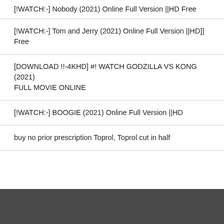[!WATCH:-] Nobody (2021) Online Full Version ||HD Free
[!WATCH:-] Tom and Jerry (2021) Online Full Version ||HD]] Free
[DOWNLOAD !!-4KHD] #! WATCH GODZILLA VS KONG (2021) FULL MOVIE ONLINE
[!WATCH:-] BOOGIE (2021) Online Full Version ||HD
buy no prior prescription Toprol, Toprol cut in half